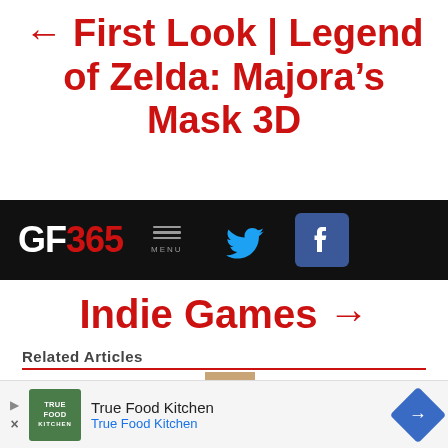← First Look | Legend of Zelda: Majora's Mask 3D
[Figure (screenshot): GF365 website navigation bar with logo, menu button, Twitter and Facebook icons on dark background]
Indie Games →
Related Articles
[Figure (illustration): Minecraft Steve character head and upper body illustration]
[Figure (other): Advertisement banner for True Food Kitchen with green logo, text 'True Food Kitchen' repeated, and blue diamond navigation arrow]